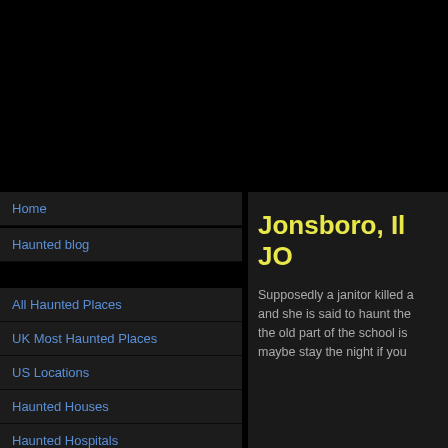Home
Haunted blog
All Haunted Places
UK Most Haunted Places
US Locations
Haunted Houses
Haunted Hospitals
Jonsboro, Il JO
Supposedly a janitor killed a and she is said to haunt the the old part of the school is maybe stay the night if you